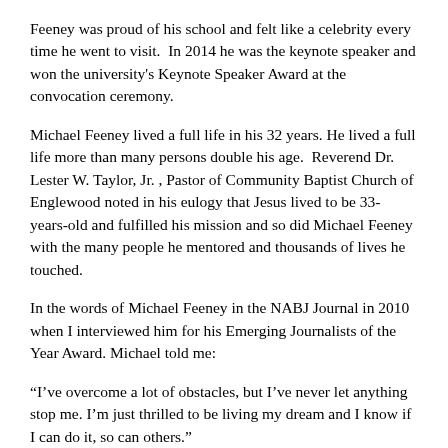Feeney was proud of his school and felt like a celebrity every time he went to visit.  In 2014 he was the keynote speaker and won the university's Keynote Speaker Award at the convocation ceremony.
Michael Feeney lived a full life in his 32 years. He lived a full life more than many persons double his age.  Reverend Dr. Lester W. Taylor, Jr. , Pastor of Community Baptist Church of Englewood noted in his eulogy that Jesus lived to be 33-years-old and fulfilled his mission and so did Michael Feeney with the many people he mentored and thousands of lives he touched.
In the words of Michael Feeney in the NABJ Journal in 2010 when I interviewed him for his Emerging Journalists of the Year Award. Michael told me:
“I’ve overcome a lot of obstacles, but I’ve never let anything stop me. I’m just thrilled to be living my dream and I know if I can do it, so can others.”
Michael leaves behind his mother Reba Willis, his twin